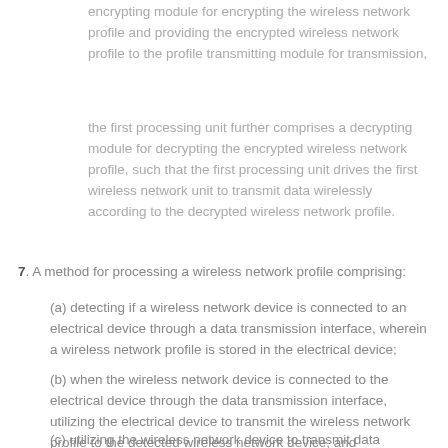encrypting module for encrypting the wireless network profile and providing the encrypted wireless network profile to the profile transmitting module for transmission,
the first processing unit further comprises a decrypting module for decrypting the encrypted wireless network profile, such that the first processing unit drives the first wireless network unit to transmit data wirelessly according to the decrypted wireless network profile.
7. A method for processing a wireless network profile comprising:
(a) detecting if a wireless network device is connected to an electrical device through a data transmission interface, wherein a wireless network profile is stored in the electrical device;
(b) when the wireless network device is connected to the electrical device through the data transmission interface, utilizing the electrical device to transmit the wireless network profile to the detected wireless network device; and
(c) utilizing the wireless network device to transmit data